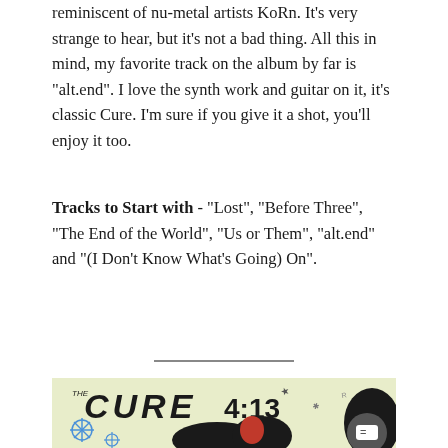reminiscent of nu-metal artists KoRn. It's very strange to hear, but it's not a bad thing. All this in mind, my favorite track on the album by far is "alt.end". I love the synth work and guitar on it, it's classic Cure. I'm sure if you give it a shot, you'll enjoy it too.
Tracks to Start with - "Lost", "Before Three", "The End of the World", "Us or Them", "alt.end" and "(I Don't Know What's Going) On".
[Figure (photo): Album cover art for The Cure 4:13 - colorful artwork showing 'THE CURE 4:13' text with illustrated figures on a light yellow-green background with blue star/flower motifs. A dark chat bubble icon with an equals sign is overlaid in the bottom right corner.]